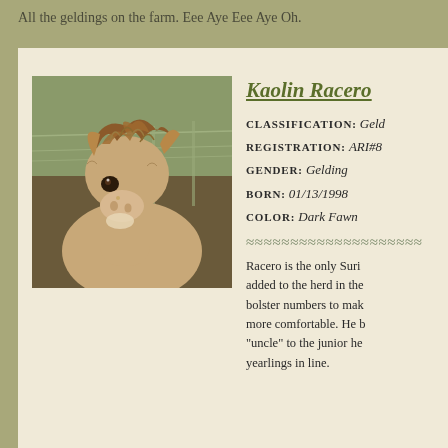All the geldings on the farm. Eee Aye Eee Aye Oh.
[Figure (photo): Close-up photo of an alpaca (Kaolin Racero) with fluffy brown/fawn fur and alert ears, looking directly at camera, fence visible in background]
Kaolin Racero
CLASSIFICATION: Gelding
REGISTRATION: ARI#8...
GENDER: Gelding
BORN: 01/13/1998
COLOR: Dark Fawn
Racero is the only Suri added to the herd in the bolster numbers to make more comfortable. He is "uncle" to the junior he yearlings in line.